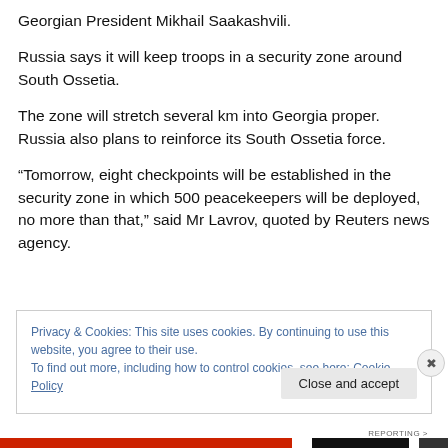Georgian President Mikhail Saakashvili.
Russia says it will keep troops in a security zone around South Ossetia.
The zone will stretch several km into Georgia proper. Russia also plans to reinforce its South Ossetia force.
“Tomorrow, eight checkpoints will be established in the security zone in which 500 peacekeepers will be deployed, no more than that,” said Mr Lavrov, quoted by Reuters news agency.
Privacy & Cookies: This site uses cookies. By continuing to use this website, you agree to their use.
To find out more, including how to control cookies, see here: Cookie Policy